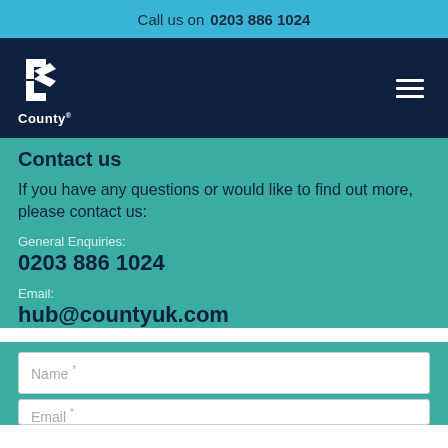Call us on 0203 886 1024
[Figure (logo): County logo with stylized C icon and 'County' text in white on dark navy background, hamburger menu icon on right]
Contact us
If you have any questions or would like to find out more, please contact us:
General Enquiries:
0203 886 1024
Email:
hub@countyuk.com
Name *
Email *